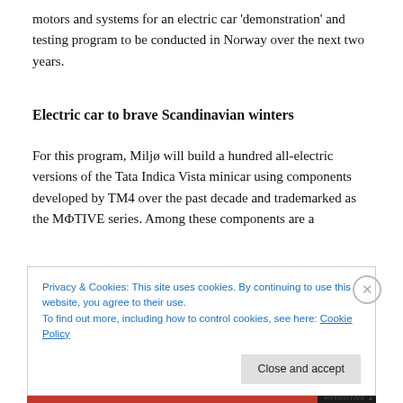motors and systems for an electric car 'demonstration' and testing program to be conducted in Norway over the next two years.
Electric car to brave Scandinavian winters
For this program, Miljø will build a hundred all-electric versions of the Tata Indica Vista minicar using components developed by TM4 over the past decade and trademarked as the MΦTIVE series. Among these components are a
Privacy & Cookies: This site uses cookies. By continuing to use this website, you agree to their use.
To find out more, including how to control cookies, see here: Cookie Policy
Close and accept